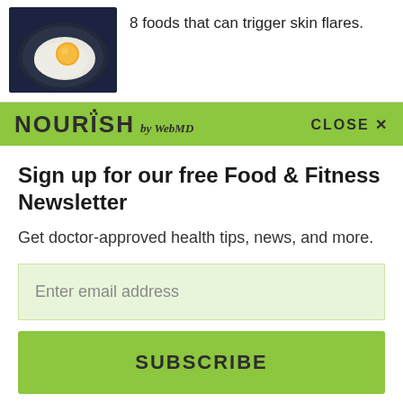[Figure (photo): Fried egg on dark plate, top-down view]
8 foods that can trigger skin flares.
[Figure (logo): NOURISH by WebMD logo on green banner with CLOSE X button]
Sign up for our free Food & Fitness Newsletter
Get doctor-approved health tips, news, and more.
Enter email address
SUBSCRIBE
ADVERTISEMENT